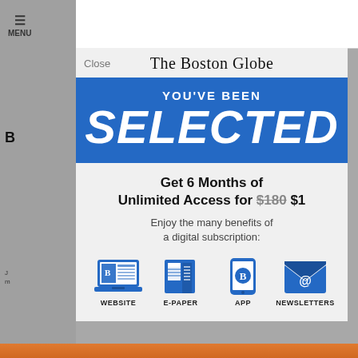[Figure (screenshot): Screenshot of a Boston Globe subscription modal overlay on a mobile browser. The modal shows 'Close' button, The Boston Globe masthead in old English font, a blue banner reading 'YOU'VE BEEN SELECTED', offer text 'Get 6 Months of Unlimited Access for $180 $1' with $180 struck through, subtext 'Enjoy the many benefits of a digital subscription:', and four icons for WEBSITE, E-PAPER, APP, NEWSLETTERS.]